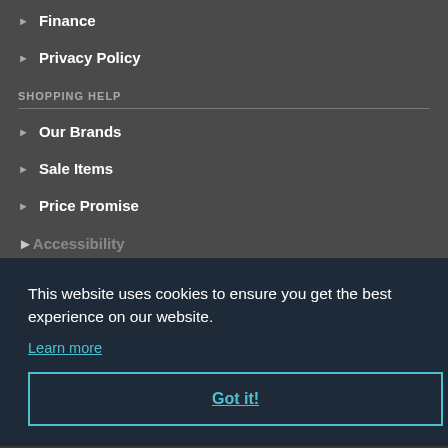Finance
Privacy Policy
SHOPPING HELP
Our Brands
Sale Items
Price Promise
This website uses cookies to ensure you get the best experience on our website.
Learn more
Got it!
Phone: 01244 317 893